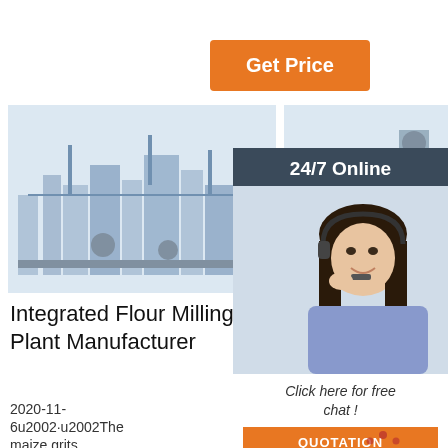[Figure (other): Orange 'Get Price' button]
[Figure (photo): Integrated flour milling plant machinery photo 1]
[Figure (photo): Integrated flour milling plant machinery photo 2]
[Figure (photo): Corn/maize flour processing line machinery photo, partially visible]
Integrated Flour Milling Plant Manufacturer
2020-11-6u2002·u2002The maize grits
Integrated Flour Milling Plant Manufacturer
2020-11-6u2002·u2002PINGLE is a premium
C M Maize Flour Processing Line Manufacturer
…
[Figure (infographic): 24/7 Online chat overlay with agent photo, 'Click here for free chat!' text, QUOTATION button, and TOP watermark logo]